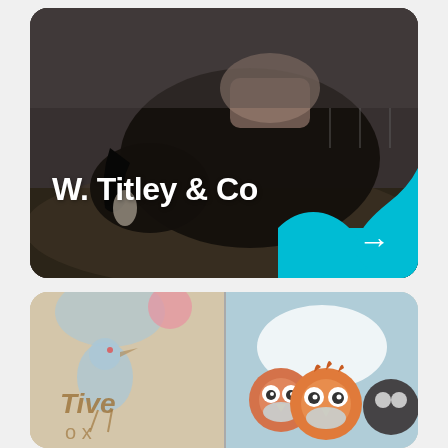[Figure (photo): Dark photo of a person riding a black horse in a field, with a large bold white text overlay reading 'W. Titley & Co' and a cyan/turquoise blob shape in the bottom-right corner containing a white arrow pointing right.]
W. Titley & Co
[Figure (illustration): Two-panel card: left panel shows a hand-drawn style bird/kiwi illustration on beige background with stylized text 'i Tive o x'; right panel shows colorful cartoon owl characters on a light blue background.]